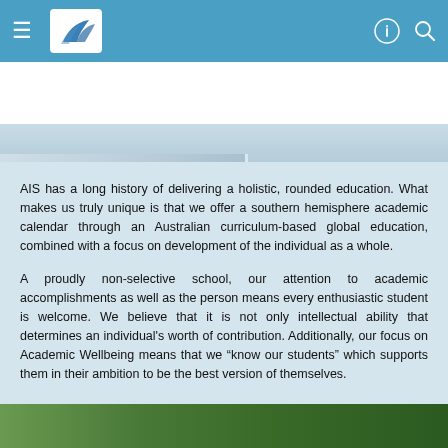AIS navigation bar with hamburger menu, school logo, and search/profile icons
[Figure (photo): Partial photograph of students, cropped at top, showing a light-toned left section and dark-toned right section]
AIS has a long history of delivering a holistic, rounded education. What makes us truly unique is that we offer a southern hemisphere academic calendar through an Australian curriculum-based global education, combined with a focus on development of the individual as a whole.
A proudly non-selective school, our attention to academic accomplishments as well as the person means every enthusiastic student is welcome. We believe that it is not only intellectual ability that determines an individual's worth of contribution. Additionally, our focus on Academic Wellbeing means that we “know our students” which supports them in their ambition to be the best version of themselves.
[Figure (photo): Bottom photo strip showing students lying on green grass]